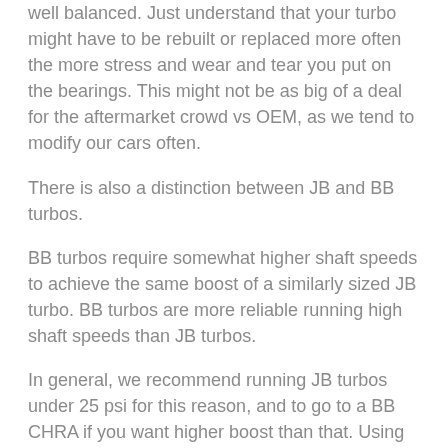well balanced.  Just understand that your turbo might have to be rebuilt or replaced more often the more stress and wear and tear you put on the bearings.  This might not be as big of a deal for the aftermarket crowd vs OEM, as we tend to modify our cars often.
There is also a distinction between JB and BB turbos.
BB turbos require somewhat higher shaft speeds to achieve the same boost of a similarly sized JB turbo.  BB turbos are more reliable running high shaft speeds than JB turbos.
In general, we recommend running JB turbos under 25 psi for this reason, and to go to a BB CHRA if you want higher boost than that.  Using that rule of thumb, our turbos shouldn't have to be repaired or replaced.
For reference, compare the compressor map we developed when we gas bench tested the JB STX 71 against a Garrett